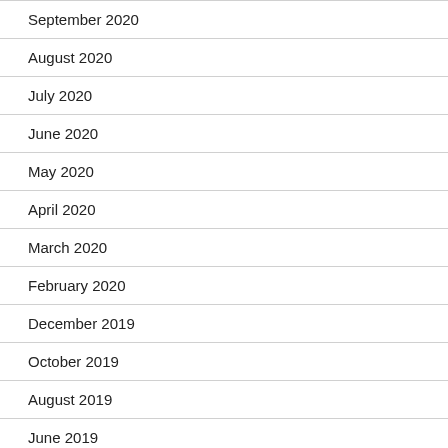September 2020
August 2020
July 2020
June 2020
May 2020
April 2020
March 2020
February 2020
December 2019
October 2019
August 2019
June 2019
April 2019